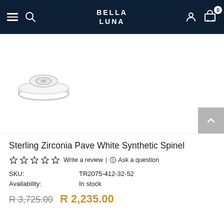BELLA LUNA
[Figure (photo): A silver sterling zirconia pave ring with an oval eye-shaped design, shown on a white background.]
Sterling Zirconia Pave White Synthetic Spinel
☆☆☆☆☆ Write a review | 💬 Ask a question
SKU: TR2075-412-32-52
Availability: In stock
R 3,725.00  R 2,235.00